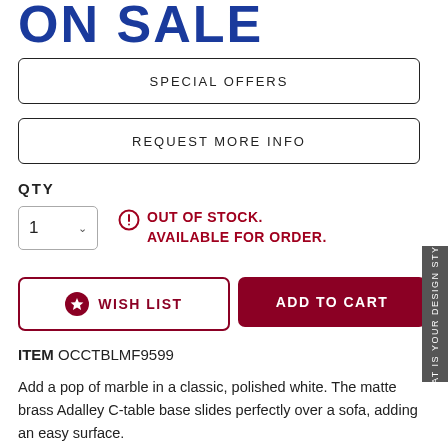ON SALE
SPECIAL OFFERS
REQUEST MORE INFO
QTY
1
OUT OF STOCK. AVAILABLE FOR ORDER.
WISH LIST
ADD TO CART
ITEM OCCTBLMF9599
Add a pop of marble in a classic, polished white. The matte brass Adalley C-table base slides perfectly over a sofa, adding an easy surface.